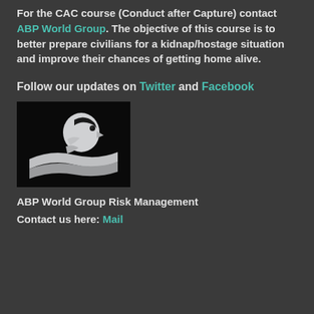For the CAC course (Conduct after Capture) contact ABP World Group. The objective of this course is to better prepare civilians for a kidnap/hostage situation and improve their chances of getting home alive.
Follow our updates on Twitter and Facebook
[Figure (logo): ABP World Group logo: black background with a silver eagle head and silver wave/ribbon graphic]
ABP World Group Risk Management
Contact us here: Mail